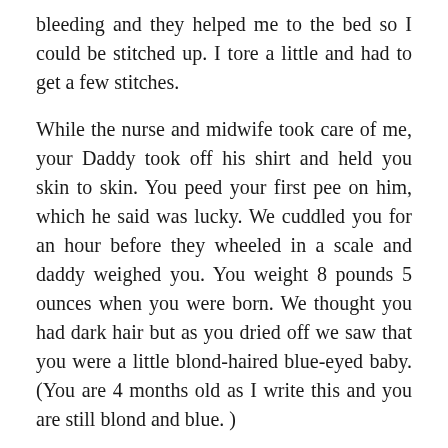bleeding and they helped me to the bed so I could be stitched up. I tore a little and had to get a few stitches.
While the nurse and midwife took care of me, your Daddy took off his shirt and held you skin to skin. You peed your first pee on him, which he said was lucky. We cuddled you for an hour before they wheeled in a scale and daddy weighed you. You weight 8 pounds 5 ounces when you were born. We thought you had dark hair but as you dried off we saw that you were a little blond-haired blue-eyed baby. (You are 4 months old as I write this and you are still blond and blue. )
We called Grammy and Grandma Mary and told them you were here. They were surprised you came so quickly. We asked them to bring us bagels and a giant turkey sandwich for me. They came to the Birth Center to meet you. At 2 in the afternoon we headed home. You slept the whole way home. In fact, you were very sleepy for the first few days. You spent your first night cuddled